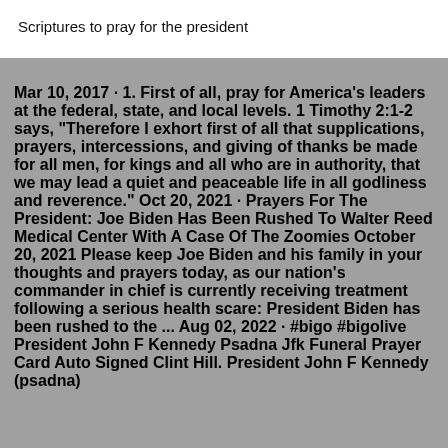Scriptures to pray for the president
Mar 10, 2017 · 1. First of all, pray for America's leaders at the federal, state, and local levels. 1 Timothy 2:1-2 says, "Therefore I exhort first of all that supplications, prayers, intercessions, and giving of thanks be made for all men, for kings and all who are in authority, that we may lead a quiet and peaceable life in all godliness and reverence." Oct 20, 2021 · Prayers For The President: Joe Biden Has Been Rushed To Walter Reed Medical Center With A Case Of The Zoomies October 20, 2021 Please keep Joe Biden and his family in your thoughts and prayers today, as our nation's commander in chief is currently receiving treatment following a serious health scare: President Biden has been rushed to the ... Aug 02, 2022 · #bigo #bigolive President John F Kennedy Psadna Jfk Funeral Prayer Card Auto Signed Clint Hill. President John F Kennedy (psadna)